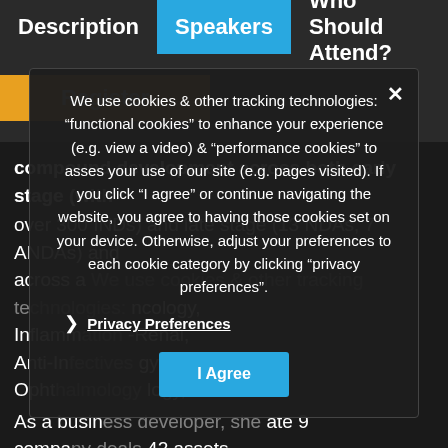Description | Speakers | Who Should Attend?
Register
compound development across both early stage (with over 300 INDs) and late stage (13 NDAs, 7 ANDAs) and across a wide range of therapeutic areas (e.g. Oncology, Inflammation, Cardiovascular, Anti-Infectives, CNS, Anti-Infectives-Renal, Anti-Inflammatory, Ophthalmology, Dermatology, Urology, As a business developer, she has concluded late stage 9 company deals (Partnerships, Licensing, JVs) and 42 assets acquisitions, and was the CEO and COO of the Life Capital company specialized in the creation and incubation of Biotechnology startups. She has extensive licensing experience from both Roche (member of the licensing committee) and Aventis- Urology and CNS licensing committee) and Alcent (board level). Dr. Gonzalez
We use cookies & other tracking technologies: "functional cookies" to enhance your experience (e.g. view a video) & "performance cookies" to asses your use of our site (e.g. pages visited). If you click "I agree" or continue navigating the website, you agree to having those cookies set on your device. Otherwise, adjust your preferences to each cookie category by clicking "privacy preferences".
Privacy Preferences
I Agree